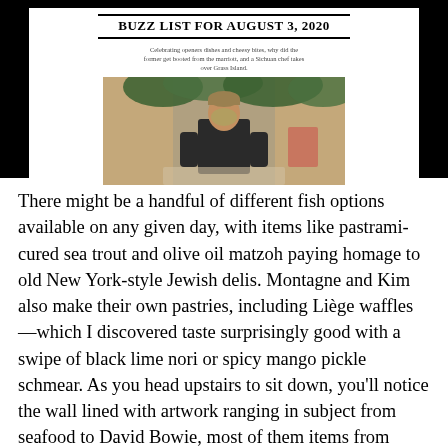BUZZ LIST FOR AUGUST 3, 2020
Celebrating openers dishes and cheesy bites, why did the former get booted from the marriott, and a Sichuan chef takes over Grass Island.
[Figure (photo): A chef wearing a mask and dark apron standing outdoors against a brick wall with green plants overhead.]
There might be a handful of different fish options available on any given day, with items like pastrami-cured sea trout and olive oil matzoh paying homage to old New York-style Jewish delis. Montagne and Kim also make their own pastries, including Liège waffles—which I discovered taste surprisingly good with a swipe of black lime nori or spicy mango pickle schmear. As you head upstairs to sit down, you'll notice the wall lined with artwork ranging in subject from seafood to David Bowie, most of them items from Kim's former apartment.